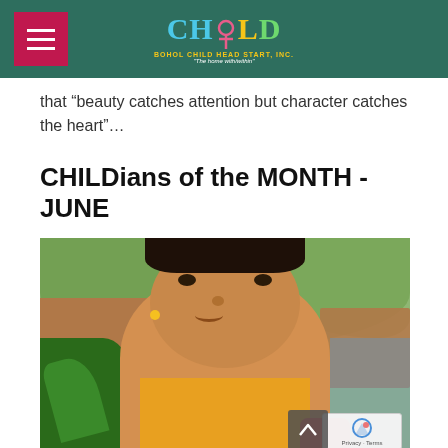CHILD - Bohol Child Head Start, Inc.
that “beauty catches attention but character catches the heart”…
CHILDians of the MONTH - JUNE
[Figure (photo): A young girl with curly dark hair adorned with a rainbow bow/clip, wearing earrings, photographed outdoors with brown walls and green plants in the background.]